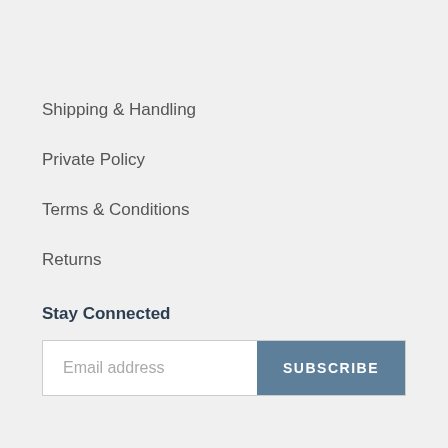Shipping & Handling
Private Policy
Terms & Conditions
Returns
Stay Connected
Email address | SUBSCRIBE